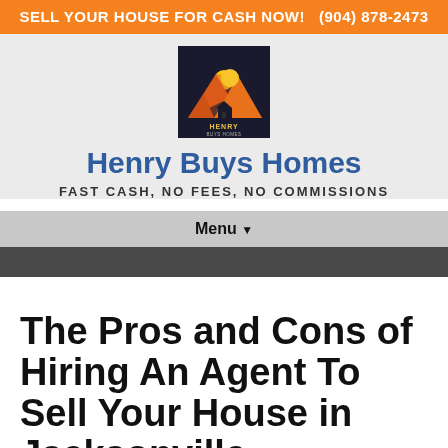SELL YOUR HOUSE FOR CASH NOW!   (904) 878-2473
[Figure (logo): Henry Buys Homes logo — black square with yellow/orange/red mountain sun graphic and house silhouette, text 'HENRY BUYS HOMES' below]
Henry Buys Homes
FAST CASH, NO FEES, NO COMMISSIONS
Menu ▾
The Pros and Cons of Hiring An Agent To Sell Your House in Jacksonville